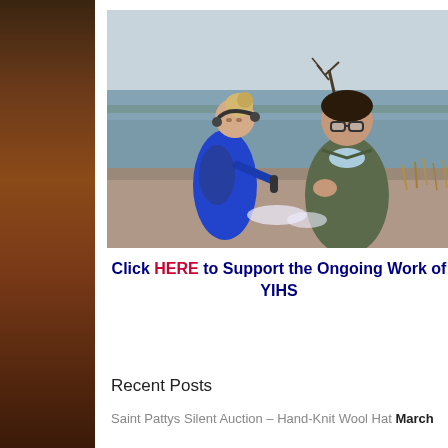[Figure (photo): Two people standing on a rocky shoreline near water. A woman in a blue jacket wearing headphones holds a microphone toward a man in a gray/green jacket. There is bare vegetation in the water background.]
Click HERE to Support the Ongoing Work of YIHS
Recent Posts
Saint Pattys Silent Auction – Hand-Knit Wool Hat  March